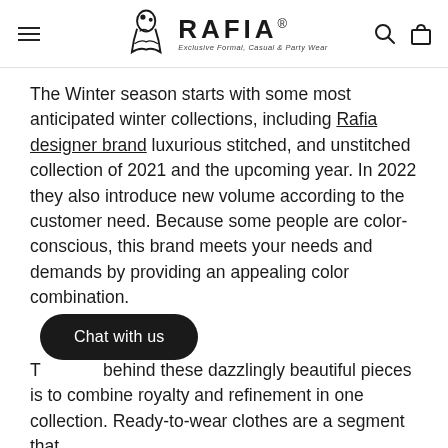RAFIA — Exclusive Formal, Casual & Party Wear (navigation header with hamburger menu, logo, search and bag icons)
The Winter season starts with some most anticipated winter collections, including Rafia designer brand luxurious stitched, and unstitched collection of 2021 and the upcoming year. In 2022 they also introduce new volume according to the customer need. Because some people are color-conscious, this brand meets your needs and demands by providing an appealing color combination.
T... behind these dazzlingly beautiful pieces is to combine royalty and refinement in one collection. Ready-to-wear clothes are a segment that